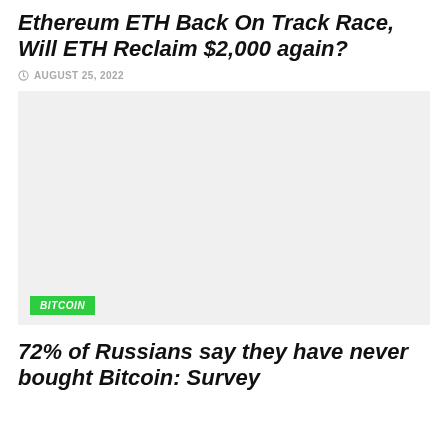Ethereum ETH Back On Track Race, Will ETH Reclaim $2,000 again?
AUGUST 25, 2022
[Figure (photo): Light gray placeholder image with a green BITCOIN badge in the lower left corner]
72% of Russians say they have never bought Bitcoin: Survey